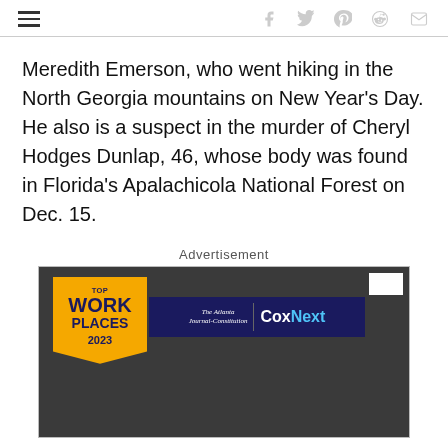navigation and social share icons
Meredith Emerson, who went hiking in the North Georgia mountains on New Year's Day. He also is a suspect in the murder of Cheryl Hodges Dunlap, 46, whose body was found in Florida's Apalachicola National Forest on Dec. 15.
Advertisement
[Figure (other): Advertisement banner for Top Work Places 2023 by The Atlanta Journal-Constitution and CoxNext, displayed on a dark background.]